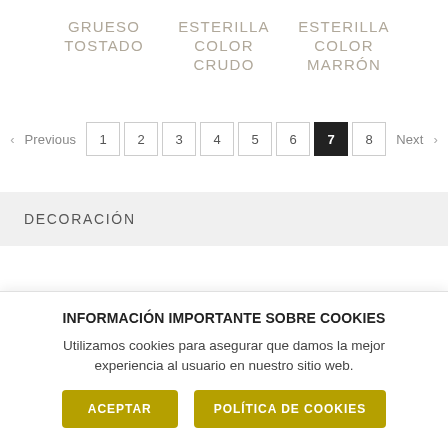GRUESO TOSTADO
ESTERILLA COLOR CRUDO
ESTERILLA COLOR MARRÓN
< Previous  1  2  3  4  5  6  7  8  Next >
DECORACIÓN
INFORMACIÓN IMPORTANTE SOBRE COOKIES
Utilizamos cookies para asegurar que damos la mejor experiencia al usuario en nuestro sitio web.
ACEPTAR
POLÍTICA DE COOKIES